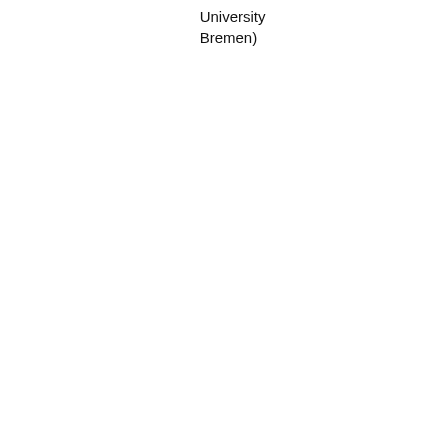|  | Date | Speaker |
| --- | --- | --- |
|  |  | University
Bremen) |
|  | 15.05.14 | Ulrich Schwarz (Universität Heidelberg) |
|  | 22.05.14 | Viktor Jirsa (Aix-Marseille Université) |